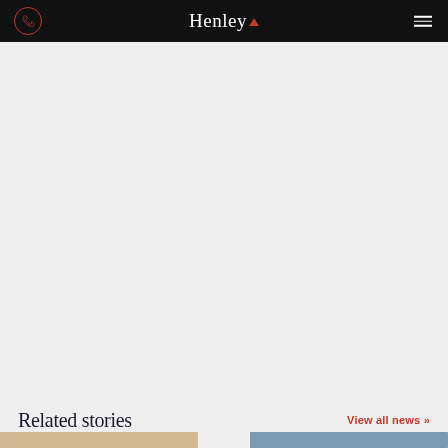Henley
[Figure (other): Large light grey blank content area filling most of the page]
Related stories
View all news »
[Figure (photo): Two partially visible thumbnail images at the bottom: a warm-toned image on the left and a blue-toned image on the right]